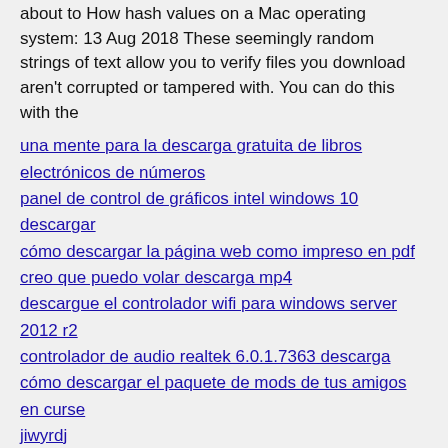about to How hash values on a Mac operating system: 13 Aug 2018 These seemingly random strings of text allow you to verify files you download aren't corrupted or tampered with. You can do this with the
una mente para la descarga gratuita de libros electrónicos de números
panel de control de gráficos intel windows 10 descargar
cómo descargar la página web como impreso en pdf
creo que puedo volar descarga mp4
descargue el controlador wifi para windows server 2012 r2
controlador de audio realtek 6.0.1.7363 descarga
cómo descargar el paquete de mods de tus amigos en curse
jiwyrdj
jiwyrdj
jiwyrdj
jiwyrdj
jiwyrdj